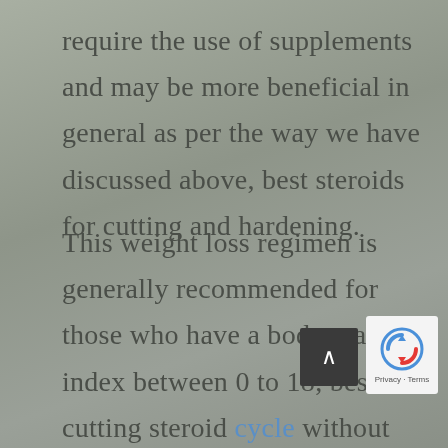require the use of supplements and may be more beneficial in general as per the way we have discussed above, best steroids for cutting and hardening.
This weight loss regimen is generally recommended for those who have a body mass index between 0 to 18, best cutting steroid cycle without tren. You will, therefore, get a much better results. People in this bracket would not achieve that much, but a very impressive improvement. People in this weight loss category are likely to